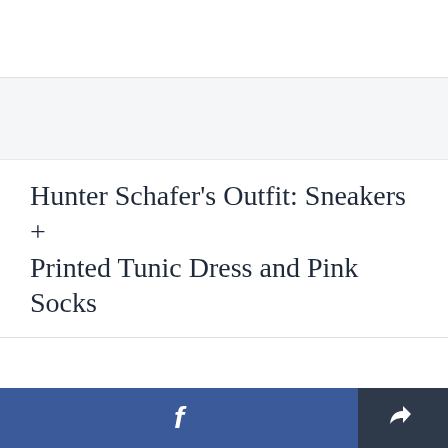Hunter Schafer's Outfit: Sneakers + Printed Tunic Dress and Pink Socks
[Figure (screenshot): White placeholder box region below title, part of a web article layout with Facebook share button and general share button at the bottom]